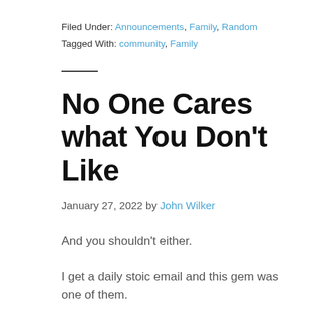Filed Under: Announcements, Family, Random
Tagged With: community, Family
No One Cares what You Don't Like
January 27, 2022 by John Wilker
And you shouldn't either.
I get a daily stoic email and this gem was one of them.
We have so many strong opinions. Especially